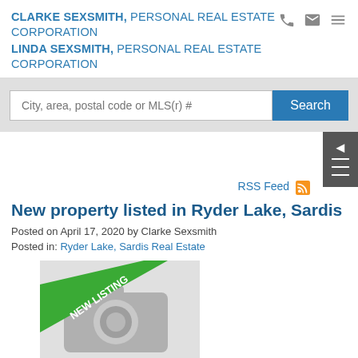CLARKE SEXSMITH, PERSONAL REAL ESTATE CORPORATION
LINDA SEXSMITH, PERSONAL REAL ESTATE CORPORATION
City, area, postal code or MLS(r) #
Search
RSS Feed
New property listed in Ryder Lake, Sardis
Posted on April 17, 2020 by Clarke Sexsmith
Posted in: Ryder Lake, Sardis Real Estate
[Figure (photo): New listing badge over a placeholder camera/photo icon]